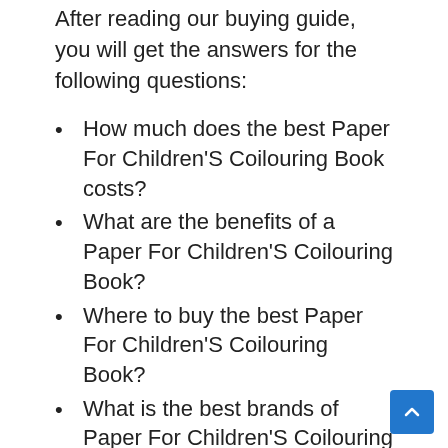After reading our buying guide, you will get the answers for the following questions:
How much does the best Paper For Children'S Coilouring Book costs?
What are the benefits of a Paper For Children'S Coilouring Book?
Where to buy the best Paper For Children'S Coilouring Book?
What is the best brands of Paper For Children'S Coilouring Book?
How long does a Paper For Children'S Coilouring Book last?
Does Paper For Children'S Coilouring Book come with a manufacturer warranty?